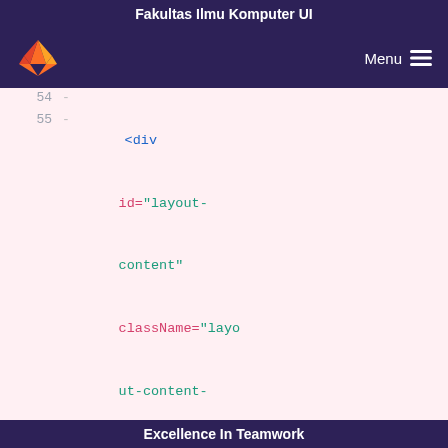Fakultas Ilmu Komputer UI
[Figure (screenshot): Navigation bar with GitLab fox logo on left and Menu with hamburger icon on right, dark purple background]
54  -
55  -    <div id="layout-content" className="layout-content-wrapper">
56  -
         <Tables cols={cols} data={data2} />
57  -            <div className="panel-list">{ list }</div>
58  -            </div>
59  -         </div>
60  -
61        );
Excellence In Teamwork